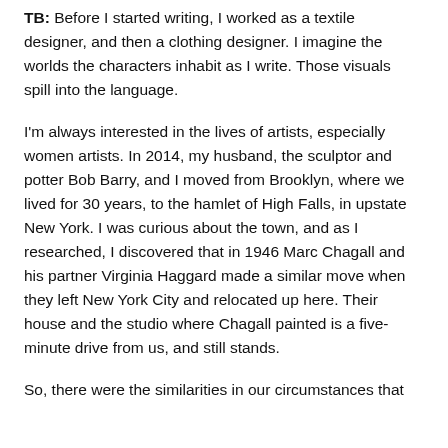TB: Before I started writing, I worked as a textile designer, and then a clothing designer. I imagine the worlds the characters inhabit as I write. Those visuals spill into the language.
I'm always interested in the lives of artists, especially women artists. In 2014, my husband, the sculptor and potter Bob Barry, and I moved from Brooklyn, where we lived for 30 years, to the hamlet of High Falls, in upstate New York. I was curious about the town, and as I researched, I discovered that in 1946 Marc Chagall and his partner Virginia Haggard made a similar move when they left New York City and relocated up here. Their house and the studio where Chagall painted is a five-minute drive from us, and still stands.
So, there were the similarities in our circumstances that